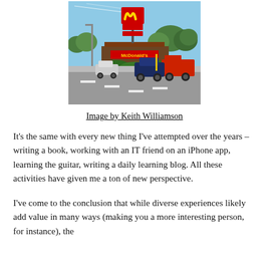[Figure (photo): Outdoor photo of a McDonald's restaurant with a large golden arches sign visible, cars on the road in the foreground, trees in the background, and a blue sky.]
Image by Keith Williamson
It's the same with every new thing I've attempted over the years – writing a book, working with an IT friend on an iPhone app, learning the guitar, writing a daily learning blog. All these activities have given me a ton of new perspective.
I've come to the conclusion that while diverse experiences likely add value in many ways (making you a more interesting person, for instance), the